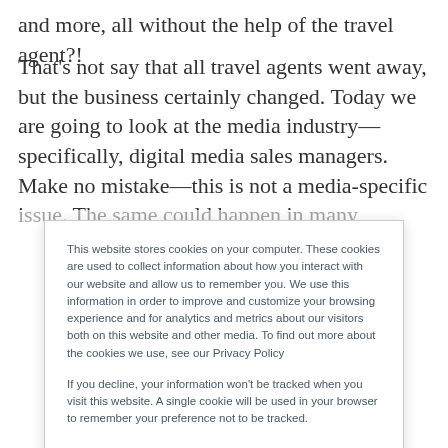and more, all without the help of the travel agent?!
That's not say that all travel agents went away, but the business certainly changed. Today we are going to look at the media industry—specifically, digital media sales managers. Make no mistake—this is not a media-specific issue. The same could happen in many
This website stores cookies on your computer. These cookies are used to collect information about how you interact with our website and allow us to remember you. We use this information in order to improve and customize your browsing experience and for analytics and metrics about our visitors both on this website and other media. To find out more about the cookies we use, see our Privacy Policy
If you decline, your information won't be tracked when you visit this website. A single cookie will be used in your browser to remember your preference not to be tracked.